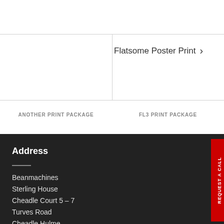Flatsome Poster Print ›
ANOTHER PRINT PACKAGE
FL3 PRINT PACKAGE
Address
Beanmachines
Sterling House
Cheadle Court 5 – 7
Turves Road
Cheadle Hulme
REQUEST A CALL